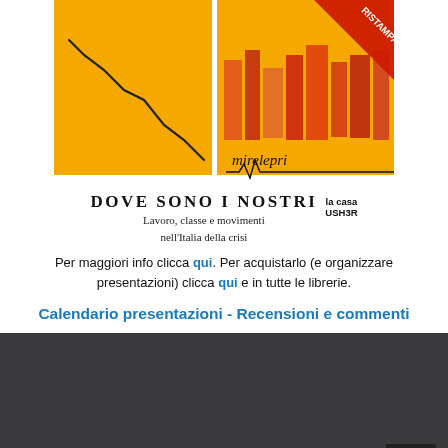[Figure (illustration): Book cover of 'Dove sono i nostri' - two yellow squares, left with a black line chart, right with colorful city buildings illustration, and a red diagonal 'RISTAMPA' banner ribbon in top right corner]
DOVE SONO I NOSTRI
Lavoro, classe e movimenti nell'Italia della crisi   la casa USHER
Per maggiori info clicca qui. Per acquistarlo (e organizzare presentazioni) clicca qui e in tutte le librerie.
Calendario presentazioni - Recensioni e commenti
[Figure (other): Dark grey/charcoal background section footer area with a back-to-top button arrow in bottom right]